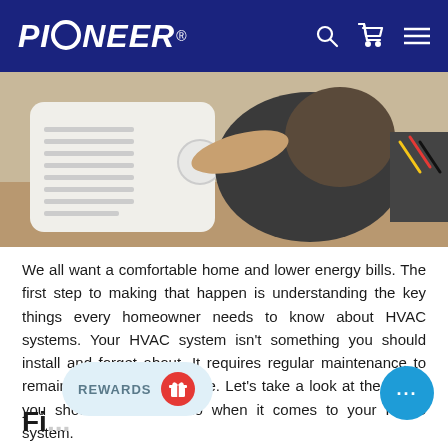PIONEER® (navigation header with search, cart, menu icons)
[Figure (photo): Person installing or servicing a white HVAC/mini-split unit on the floor, with wiring visible on the right side.]
We all want a comfortable home and lower energy bills. The first step to making that happen is understanding the key things every homeowner needs to know about HVAC systems. Your HVAC system isn't something you should install and forget about. It requires regular maintenance to remain efficient and effective. Let's take a look at the things you should know and do when it comes to your HVAC system.
Fi...